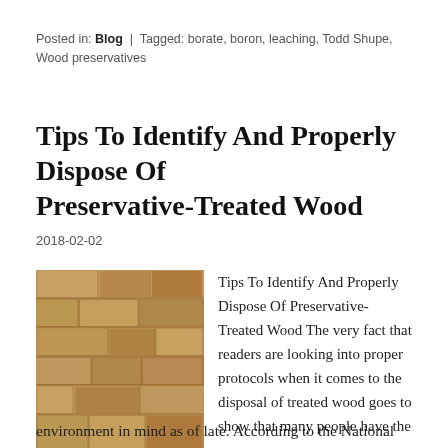Posted in: Blog | Tagged: borate, boron, leaching, Todd Shupe, Wood preservatives
Tips To Identify And Properly Dispose Of Preservative-Treated Wood
2018-02-02
[Figure (photo): Stacked pieces of light-colored lumber/wood planks viewed from the ends]
Tips To Identify And Properly Dispose Of Preservative-Treated Wood The very fact that readers are looking into proper protocols when it comes to the disposal of treated wood goes to show that many people have the environment in mind as of late. According to the National